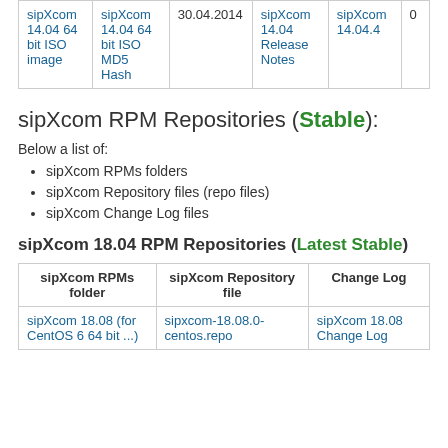|  |  |  |  |  |  |
| --- | --- | --- | --- | --- | --- |
| sipXcom 14.04 64 bit ISO image | sipXcom 14.04 64 bit ISO MD5 Hash | 30.04.2014 | sipXcom 14.04 Release Notes | sipXcom 14.04.4 | 0 |
sipXcom RPM Repositories (Stable):
Below a list of:
sipXcom RPMs folders
sipXcom Repository files (repo files)
sipXcom Change Log files
sipXcom 18.04 RPM Repositories (Latest Stable)
| sipXcom RPMs folder | sipXcom Repository file | Change Log |
| --- | --- | --- |
| sipXcom 18.08 (for CentOS 6 64 bit ...) | sipxcom-18.08.0-centos.repo | sipXcom 18.08 Change Log |